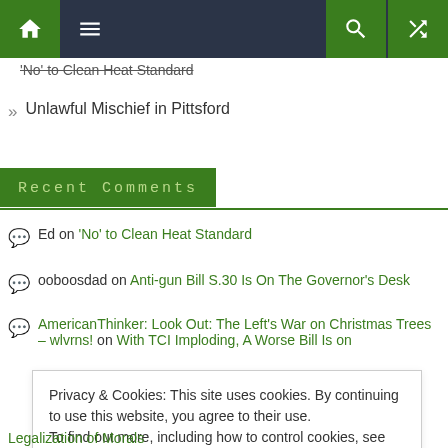Navigation bar with home, menu, search, and shuffle icons
» Unlawful Mischief in Pittsford
Recent Comments
Ed on 'No' to Clean Heat Standard
ooboosdad on Anti-gun Bill S.30 Is On The Governor's Desk
AmericanThinker: Look Out: The Left's War on Christmas Trees – wlvrns! on With TCI Imploding, A Worse Bill Is on
Privacy & Cookies: This site uses cookies. By continuing to use this website, you agree to their use.
To find out more, including how to control cookies, see here: Cookie Policy
Close and accept
Legalization of Morals